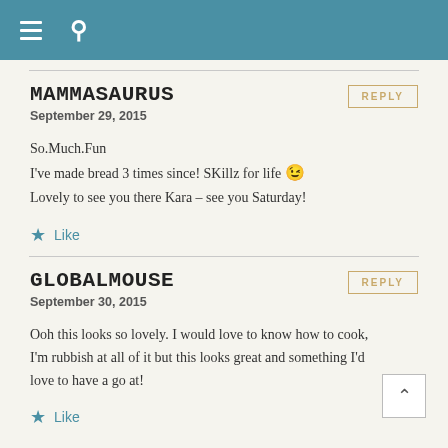Navigation header with hamburger menu and search icon
MAMMASAURUS
September 29, 2015
So.Much.Fun
I've made bread 3 times since! SKillz for life 😉
Lovely to see you there Kara – see you Saturday!
Like
GLOBALMOUSE
September 30, 2015
Ooh this looks so lovely. I would love to know how to cook, I'm rubbish at all of it but this looks great and something I'd love to have a go at!
Like